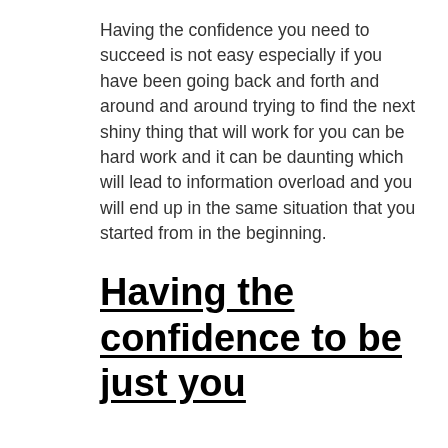Having the confidence you need to succeed is not easy especially if you have been going back and forth and around and around trying to find the next shiny thing that will work for you can be hard work and it can be daunting which will lead to information overload and you will end up in the same situation that you started from in the beginning.
Having the confidence to be just you